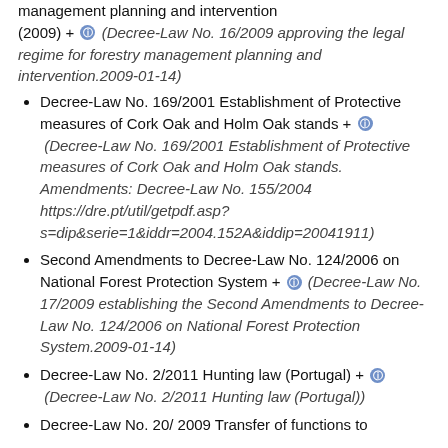management planning and intervention (2009) + ⓘ (Decree-Law No. 16/2009 approving the legal regime for forestry management planning and intervention.2009-01-14)
Decree-Law No. 169/2001 Establishment of Protective measures of Cork Oak and Holm Oak stands + ⓘ (Decree-Law No. 169/2001 Establishment of Protective measures of Cork Oak and Holm Oak stands. Amendments: Decree-Law No. 155/2004 https://dre.pt/util/getpdf.asp?s=dip&serie=1&iddr=2004.152A&iddip=20041911)
Second Amendments to Decree-Law No. 124/2006 on National Forest Protection System + ⓘ (Decree-Law No. 17/2009 establishing the Second Amendments to Decree-Law No. 124/2006 on National Forest Protection System.2009-01-14)
Decree-Law No. 2/2011 Hunting law (Portugal) + ⓘ (Decree-Law No. 2/2011 Hunting law (Portugal))
Decree-Law No. 20/2009 Transfer of functions to